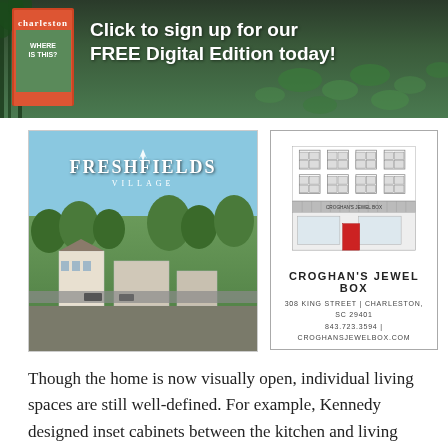[Figure (illustration): Banner advertisement for Charleston magazine with lily pad swamp background. Text reads 'Click to sign up for our FREE Digital Edition today!' with magazine cover visible on left.]
[Figure (photo): Aerial photograph of Freshfields Village shopping center with green trees and buildings visible. Freshfields Village logo overlaid in white text.]
[Figure (illustration): Line drawing illustration of Croghan's Jewel Box storefront building with red door accent. Text below reads CROGHAN'S JEWEL BOX, 308 KING STREET | CHARLESTON, SC 29401, 843.723.3594 | CROGHANSJEWELBOX.COM]
Though the home is now visually open, individual living spaces are still well-defined. For example, Kennedy designed inset cabinets between the kitchen and living room to provide storage and establish distinctly separate zones. "They help articulate the transition between those two areas," Kennedy notes.